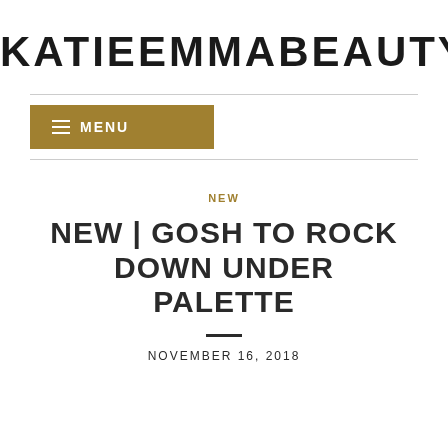KATIEEMMABEAUTY
[Figure (other): Navigation menu button with gold/tan background, hamburger icon and MENU text in white]
NEW
NEW | GOSH TO ROCK DOWN UNDER PALETTE
NOVEMBER 16, 2018